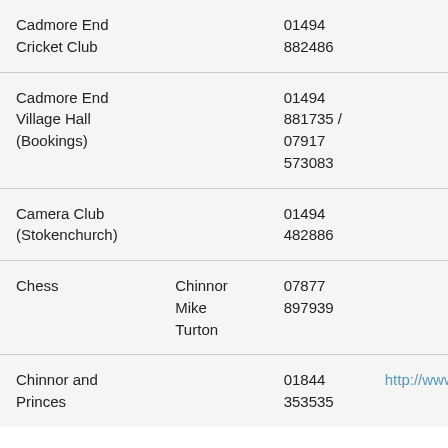| Organisation | Contact | Phone | Website |
| --- | --- | --- | --- |
| Cadmore End Cricket Club |  | 01494 882486 |  |
| Cadmore End Village Hall (Bookings) |  | 01494 881735 / 07917 573083 |  |
| Camera Club (Stokenchurch) |  | 01494 482886 |  |
| Chess | Chinnor Mike Turton | 07877 897939 |  |
| Chinnor and Princes |  | 01844 353535 | http://www.ch... |